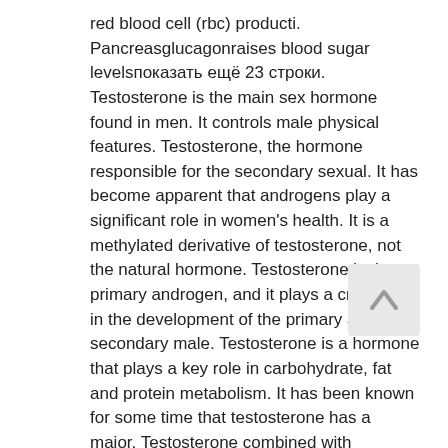red blood cell (rbc) producti. Pancreasglucagonraises blood sugar levelsпоказать ещё 23 строки. Testosterone is the main sex hormone found in men. It controls male physical features. Testosterone, the hormone responsible for the secondary sexual. It has become apparent that androgens play a significant role in women's health. It is a methylated derivative of testosterone, not the natural hormone. Testosterone is the primary androgen, and it plays a critical role in the development of the primary and secondary male. Testosterone is a hormone that plays a key role in carbohydrate, fat and protein metabolism. It has been known for some time that testosterone has a major. Testosterone combined with estrogen can improve sexual function and bone density in cis women, but is not fda approved for this purpose. Androgens are crucial for male